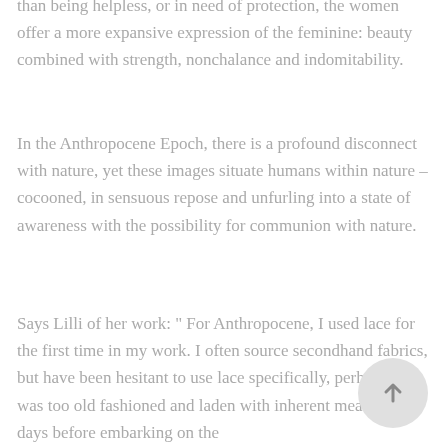than being helpless, or in need of protection, the women offer a more expansive expression of the feminine: beauty combined with strength, nonchalance and indomitability.
In the Anthropocene Epoch, there is a profound disconnect with nature, yet these images situate humans within nature – cocooned, in sensuous repose and unfurling into a state of awareness with the possibility for communion with nature.
Says Lilli of her work: " For Anthropocene, I used lace for the first time in my work. I often source secondhand fabrics, but have been hesitant to use lace specifically, perhaps it was too old fashioned and laden with inherent meaning, but days before embarking on the